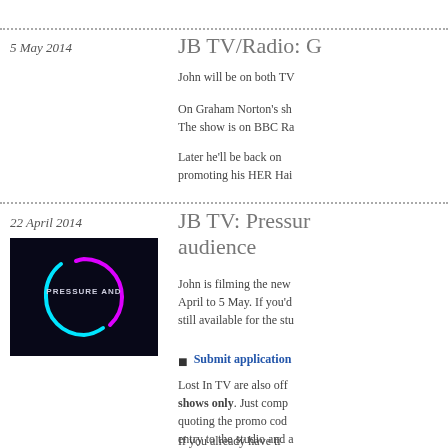5 May 2014
JB TV/Radio: G
John will be on both TV
On Graham Norton's sh... The show is on BBC Ra
Later he'll be back on promoting his HER Hai
22 April 2014
JB TV: Pressure audience
[Figure (photo): Dark circular neon light graphic with text 'PRESSURE AND' in center, cyan and magenta arcs on black background]
John is filming the new April to 5 May. If you'd still available for the stu
Submit application
Lost In TV are also off shows only. Just comp quoting the promo cod entry to the studio and a
If you already have ti